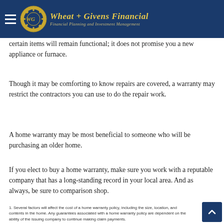Wheat + Givens Financial | Financial Planning and Investment Management
certain items will remain functional; it does not promise you a new appliance or furnace.
Though it may be comforting to know repairs are covered, a warranty may restrict the contractors you can use to do the repair work.
A home warranty may be most beneficial to someone who will be purchasing an older home.
If you elect to buy a home warranty, make sure you work with a reputable company that has a long-standing record in your local area. And as always, be sure to comparison shop.
1. Several factors will affect the cost of a home warranty policy, including the size, location, and contents in the home. Any guarantees associated with a home warranty policy are dependent on the ability of the issuing company to continue making claim payments.